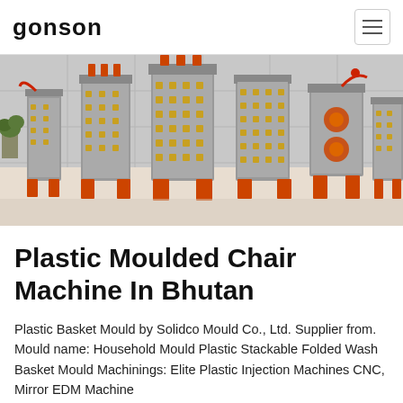GONSON
[Figure (photo): Industrial plastic injection moulds lined up in a factory room. Several tall rectangular metal mould assemblies with orange/red brackets and supports are displayed on a light-colored floor against white tiled walls.]
Plastic Moulded Chair Machine In Bhutan
Plastic Basket Mould by Solidco Mould Co., Ltd. Supplier from. Mould name: Household Mould Plastic Stackable Folded Wash Basket Mould Machinings: Elite Plastic Injection Machines CNC, Mirror EDM Machine